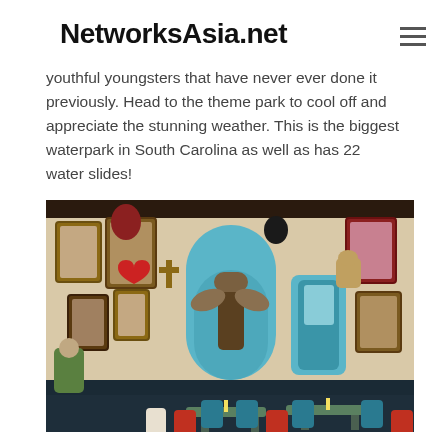NetworksAsia.net
youthful youngsters that have never ever done it previously. Head to the theme park to cool off and appreciate the stunning weather. This is the biggest waterpark in South Carolina as well as has 22 water slides!
[Figure (photo): Interior of a restaurant or bar with a decorative wall covered in colorful religious folk art, icons, statues, and artwork. Blue arched niches contain statues. In the foreground are red and blue chairs around wooden tables with candles.]